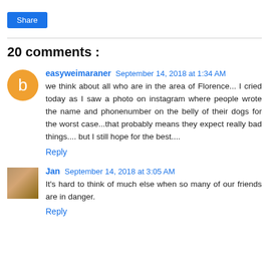Share
20 comments :
easyweimaraner September 14, 2018 at 1:34 AM
we think about all who are in the area of Florence... I cried today as I saw a photo on instagram where people wrote the name and phonenumber on the belly of their dogs for the worst case...that probably means they expect really bad things.... but I still hope for the best....
Reply
Jan September 14, 2018 at 3:05 AM
It's hard to think of much else when so many of our friends are in danger.
Reply